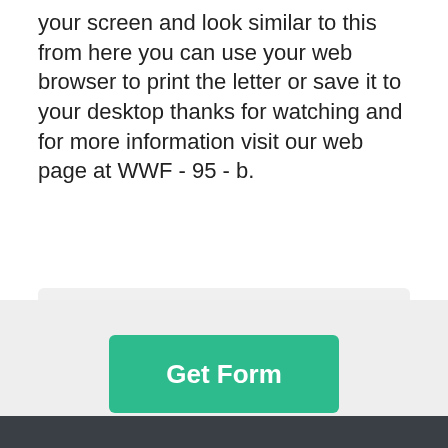your screen and look similar to this from here you can use your web browser to print the letter or save it to your desktop thanks for watching and for more information visit our web page at WWF - 95 - b.
If you believe that this page should be taken down, please follow our DMCA take down process here.
Get Form